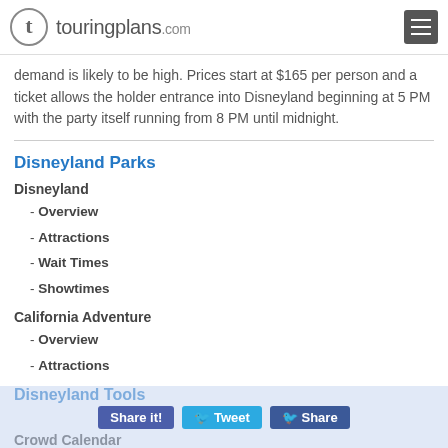touringplans.com
demand is likely to be high. Prices start at $165 per person and a ticket allows the holder entrance into Disneyland beginning at 5 PM with the party itself running from 8 PM until midnight.
Disneyland Parks
Disneyland
- Overview
- Attractions
- Wait Times
- Showtimes
California Adventure
- Overview
- Attractions
- Wait Times
- Showtimes
Refurbishments and Closures
Disneyland Tools
Crowd Calendar